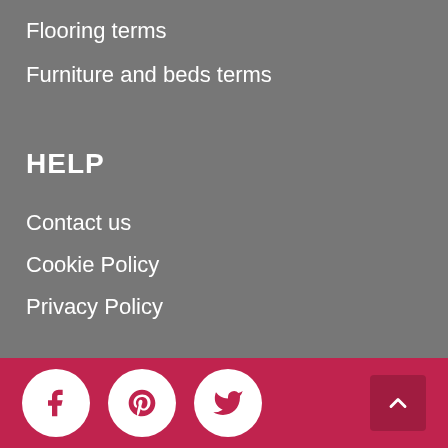Flooring terms
Furniture and beds terms
HELP
Contact us
Cookie Policy
Privacy Policy
Social icons: Facebook, Pinterest, Twitter. Scroll to top button.